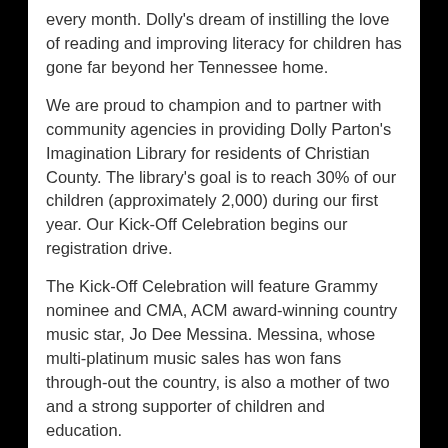every month. Dolly's dream of instilling the love of reading and improving literacy for children has gone far beyond her Tennessee home.
We are proud to champion and to partner with community agencies in providing Dolly Parton's Imagination Library for residents of Christian County. The library's goal is to reach 30% of our children (approximately 2,000) during our first year. Our Kick-Off Celebration begins our registration drive.
The Kick-Off Celebration will feature Grammy nominee and CMA, ACM award-winning country music star, Jo Dee Messina. Messina, whose multi-platinum music sales has won fans through-out the country, is also a mother of two and a strong supporter of children and education.
Registration brochures will also be available at Crofton Pharmacy, Boys & Girls Club, YMCA, Aaron McNeil